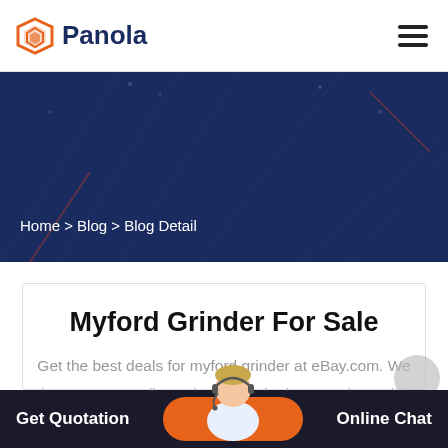Panola
Home > Blog > Blog Detail
Myford Grinder For Sale
Get the best deals for myford grinder at eBay.com. We have a great online selection at the lowest prices with Fast & Free shipping on many items!
Get Quotation   Online Chat